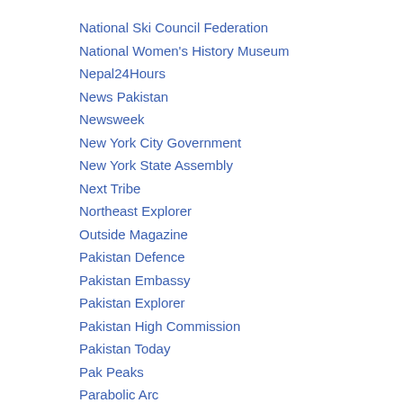National Ski Council Federation
National Women's History Museum
Nepal24Hours
News Pakistan
Newsweek
New York City Government
New York State Assembly
Next Tribe
Northeast Explorer
Outside Magazine
Pakistan Defence
Pakistan Embassy
Pakistan Explorer
Pakistan High Commission
Pakistan Today
Pak Peaks
Parabolic Arc
PK News